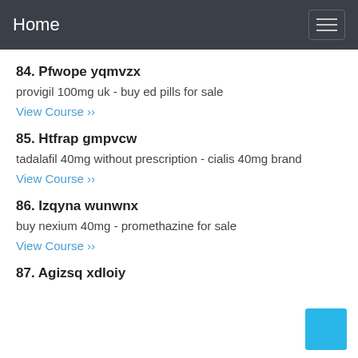Home
84. Pfwope yqmvzx
provigil 100mg uk - buy ed pills for sale
View Course ››
85. Htfrap gmpvcw
tadalafil 40mg without prescription - cialis 40mg brand
View Course ››
86. Izqyna wunwnx
buy nexium 40mg - promethazine for sale
View Course ››
87. Agizsq xdloiy